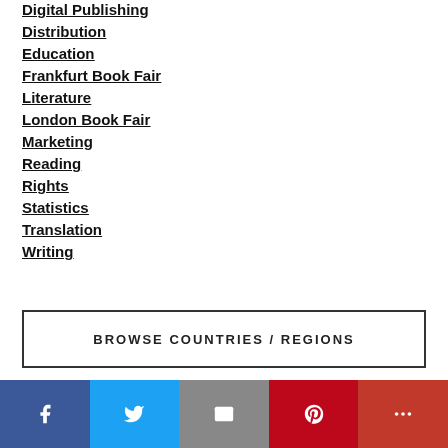Digital Publishing
Distribution
Education
Frankfurt Book Fair
Literature
London Book Fair
Marketing
Reading
Rights
Statistics
Translation
Writing
BROWSE COUNTRIES / REGIONS
Africa
Facebook | Twitter | Email | Pinterest | More